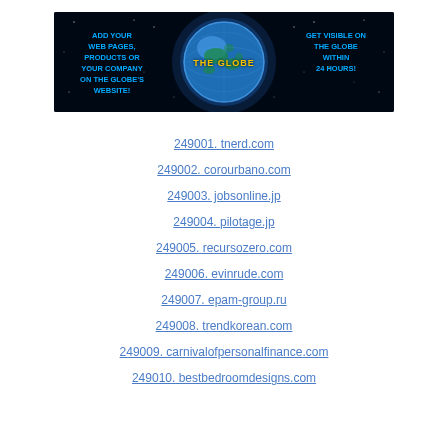[Figure (infographic): Banner ad for 'The Globe' website directory. Black background with a glowing Earth globe in the center labeled 'THE GLOBE' in yellow. Left side text in cyan: 'ADD YOUR WEB PAGES, PRODUCTS OR YOUR COMPANY ON THE GLOBE'S WEBSITE!' Right side text in cyan: 'GET VISIBLE ON THE GLOBE WITHIN 24 HOURS!']
249001. tnerd.com
249002. corourbano.com
249003. jobsonline.jp
249004. pilotage.jp
249005. recursozero.com
249006. evinrude.com
249007. epam-group.ru
249008. trendkorean.com
249009. carnivalofpersonalfinance.com
249010. bestbedroomdesigns.com